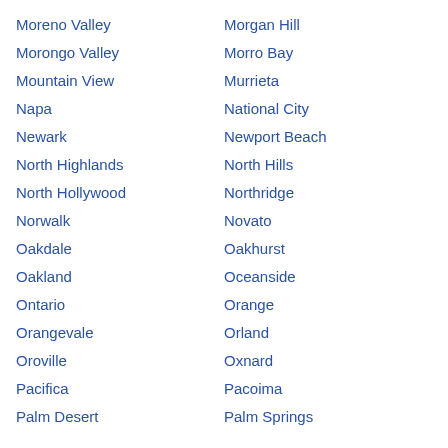Moreno Valley
Morgan Hill
Morongo Valley
Morro Bay
Mountain View
Murrieta
Napa
National City
Newark
Newport Beach
North Highlands
North Hills
North Hollywood
Northridge
Norwalk
Novato
Oakdale
Oakhurst
Oakland
Oceanside
Ontario
Orange
Orangevale
Orland
Oroville
Oxnard
Pacifica
Pacoima
Palm Desert
Palm Springs